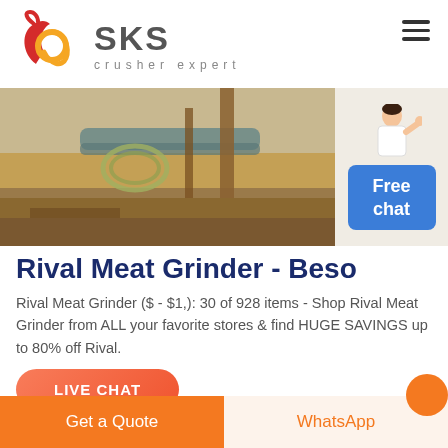[Figure (logo): SKS Crusher Expert logo with stylized red/orange interlocking circles and grey SKS text with 'crusher expert' subtitle]
[Figure (photo): Industrial outdoor scene showing pipes, coiled hoses, construction site with bare earth and wooden poles]
[Figure (other): Blue 'Free chat' button with person illustration in top right corner]
Rival Meat Grinder - Beso
Rival Meat Grinder ($ - $1,): 30 of 928 items - Shop Rival Meat Grinder from ALL your favorite stores & find HUGE SAVINGS up to 80% off Rival.
[Figure (other): LIVE CHAT button in salmon/orange rounded rectangle]
[Figure (other): Bottom bar: orange 'Get a Quote' button on left, light orange 'WhatsApp' button on right]